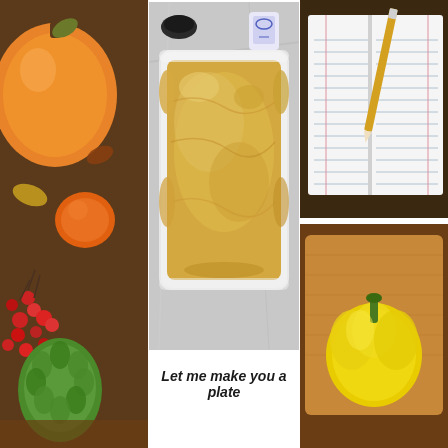[Figure (photo): Left strip: colorful autumn harvest arrangement with orange pumpkin, red berries, green fruits, and fall leaves on a wooden surface]
[Figure (photo): Center: overhead photo of a white rectangular baking dish filled with a smooth golden/yellow casserole or dessert, with a bowl and utensils visible in the background on a gray marble surface]
[Figure (photo): Right strip: top portion shows an open lined notebook with a pencil/pen on a dark wooden surface; bottom portion shows a yellow bell pepper on a wooden cutting board]
Let me make you a plate